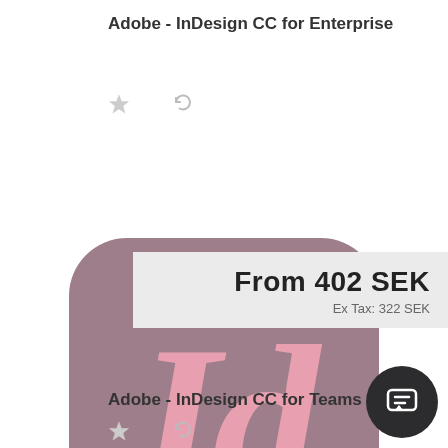Adobe - InDesign CC for Enterprise
[Figure (logo): Adobe InDesign CC app icon — rounded square with mauve/rose background color and pink 'Id' italic text logo]
From 402 SEK
Ex Tax: 322 SEK
Adobe - InDesign CC for Teams